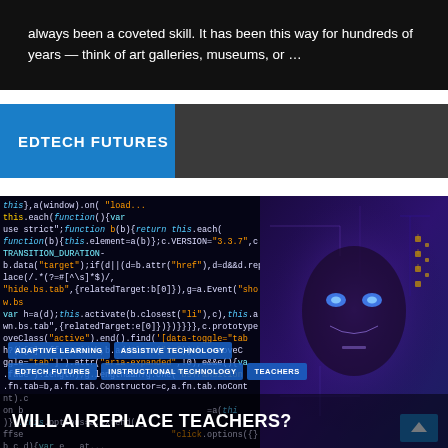[Figure (photo): Dark background image with white text overlay showing partial article text about a coveted skill, art galleries and museums]
always been a coveted skill. It has been this way for hundreds of years — think of art galleries, museums, or …
EDTECH FUTURES
[Figure (photo): Article hero image combining a code editor background on the left and an AI robot face with circuit board aesthetic on the right. Tags visible: ADAPTIVE LEARNING, ASSISTIVE TECHNOLOGY, EDTECH FUTURES, INSTRUCTIONAL TECHNOLOGY, TEACHERS. Title at bottom: WILL AI REPLACE TEACHERS?]
ADAPTIVE LEARNING
ASSISTIVE TECHNOLOGY
EDTECH FUTURES
INSTRUCTIONAL TECHNOLOGY
TEACHERS
WILL AI REPLACE TEACHERS?